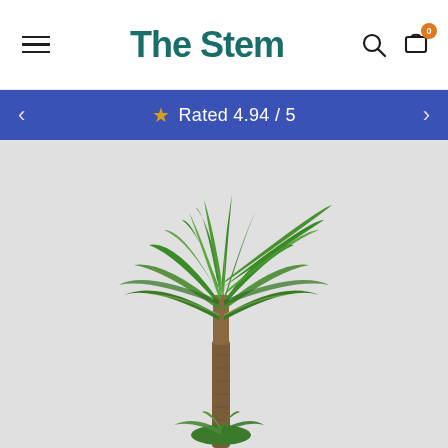The Stem — navigation bar with hamburger menu, logo, search and cart icons
★ Rated 4.94 / 5
[Figure (photo): A tall Dracaena houseplant with long green and cream-striped leaves on a bare woody stem, photographed against a light grey background]